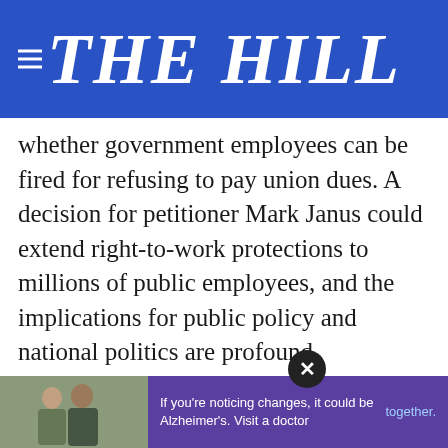THE HILL
whether government employees can be fired for refusing to pay union dues. A decision for petitioner Mark Janus could extend right-to-work protections to millions of public employees, and the implications for public policy and national politics are profound.
The case is an inflection point for organized labor, coming after decades of grim news. Union membership as a percentage of U.S. employment has been shrinking for 60 years; only 10.4 percent of workers are members of a union… the 1950s